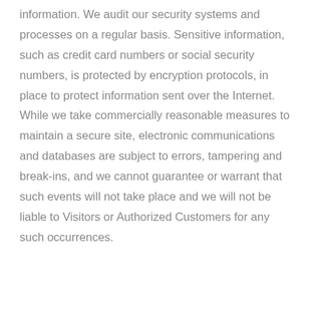information. We audit our security systems and processes on a regular basis. Sensitive information, such as credit card numbers or social security numbers, is protected by encryption protocols, in place to protect information sent over the Internet. While we take commercially reasonable measures to maintain a secure site, electronic communications and databases are subject to errors, tampering and break-ins, and we cannot guarantee or warrant that such events will not take place and we will not be liable to Visitors or Authorized Customers for any such occurrences.